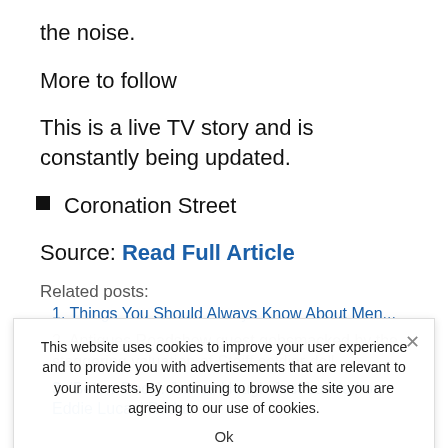the noise.
More to follow
This is a live TV story and is constantly being updated.
Coronation Street
Source: Read Full Article
Related posts:
1. Things You Should Always Know About Men...
2. Antiques Roadshow guest gobsmacked by the staggering valuation of Steiff soldier doll
3. 'Below Deck': James Hough Just Landed on Eddie Lucas' Radar
This website uses cookies to improve your user experience and to provide you with advertisements that are relevant to your interests. By continuing to browse the site you are agreeing to our use of cookies. Ok